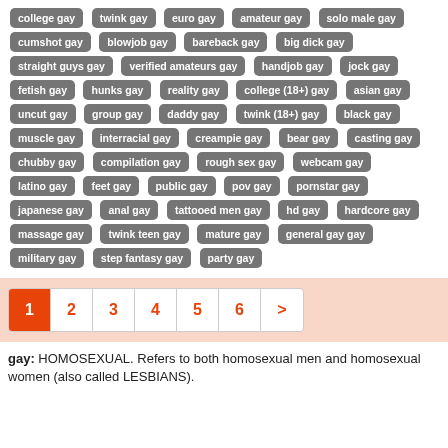college gay, twink gay, euro gay, amateur gay, solo male gay, cumshot gay, blowjob gay, bareback gay, big dick gay, straight guys gay, verified amateurs gay, handjob gay, jock gay, fetish gay, hunks gay, reality gay, college (18+) gay, asian gay, uncut gay, group gay, daddy gay, twink (18+) gay, black gay, muscle gay, interracial gay, creampie gay, bear gay, casting gay, chubby gay, compilation gay, rough sex gay, webcam gay, latino gay, feet gay, public gay, pov gay, pornstar gay, japanese gay, anal gay, tattooed men gay, hd gay, hardcore gay, massage gay, twink teen gay, mature gay, general gay gay, military gay, step fantasy gay, party gay
1 2 3 4 5 6 >
gay: HOMOSEXUAL. Refers to both homosexual men and homosexual women (also called LESBIANS).